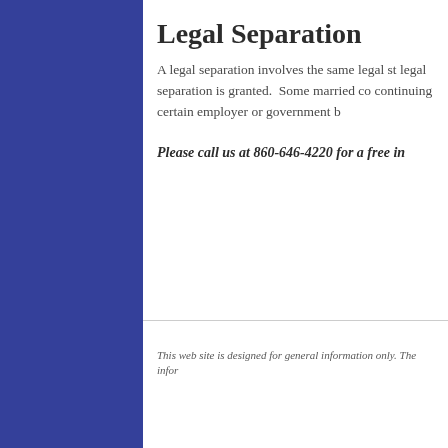Legal Separation
A legal separation involves the same legal st... legal separation is granted.  Some married co... continuing certain employer or government b...
Please call us at 860-646-4220 for a free in...
This web site is designed for general information only. The infor...